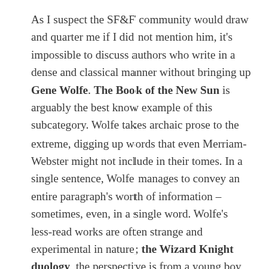As I suspect the SF&F community would draw and quarter me if I did not mention him, it's impossible to discuss authors who write in a dense and classical manner without bringing up Gene Wolfe. The Book of the New Sun is arguably the best know example of this subcategory. Wolfe takes archaic prose to the extreme, digging up words that even Merriam-Webster might not include in their tomes. In a single sentence, Wolfe manages to convey an entire paragraph's worth of information – sometimes, even, in a single word. Wolfe's less-read works are often strange and experimental in nature; the Wizard Knight duology, the perspective is from a young boy, around twelve years old, who has been made victim of a portal fantasy gone wrong. He finds himself trapped in a fantasy world, not in his own body… but instead the body of a knight at his prime. He must navigate this world using his